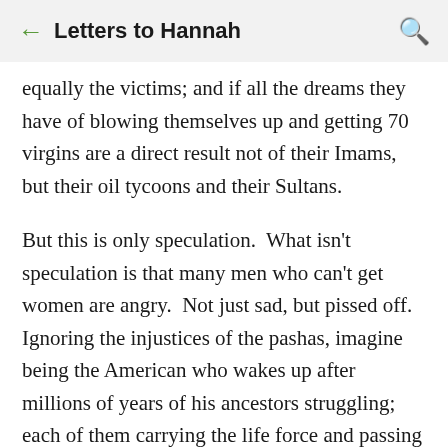← Letters to Hannah 🔍
equally the victims; and if all the dreams they have of blowing themselves up and getting 70 virgins are a direct result not of their Imams, but their oil tycoons and their Sultans.
But this is only speculation.  What isn't speculation is that many men who can't get women are angry.  Not just sad, but pissed off.  Ignoring the injustices of the pashas, imagine being the American who wakes up after millions of years of his ancestors struggling; each of them carrying the life force and passing it on from generation to generation, the whole…